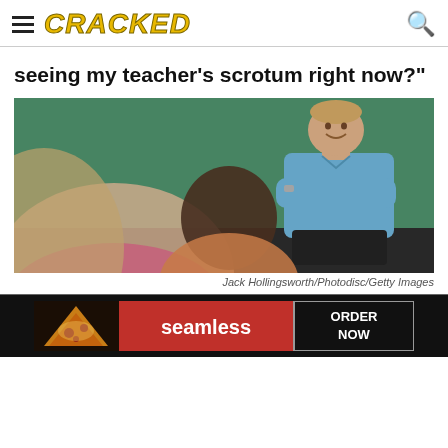CRACKED
seeing my teacher's scrotum right now?"
[Figure (photo): A smiling male teacher in a blue shirt with arms crossed stands in front of a green chalkboard, with blurred students in the foreground.]
Jack Hollingsworth/Photodisc/Getty Images
[Figure (other): Seamless food delivery advertisement banner with pizza image, red Seamless logo, and ORDER NOW button.]